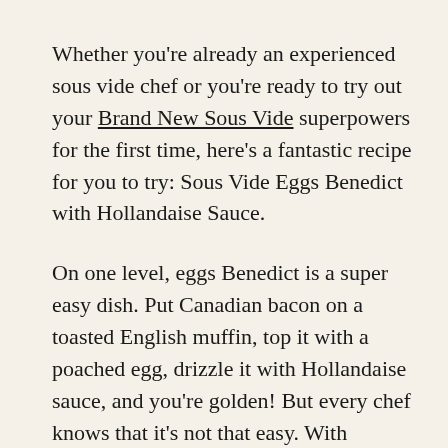Whether you're already an experienced sous vide chef or you're ready to try out your Brand New Sous Vide superpowers for the first time, here's a fantastic recipe for you to try: Sous Vide Eggs Benedict with Hollandaise Sauce.
On one level, eggs Benedict is a super easy dish. Put Canadian bacon on a toasted English muffin, top it with a poached egg, drizzle it with Hollandaise sauce, and you're golden! But every chef knows that it's not that easy. With traditional poaching methods, it's tricky to get eggs with the right combination of smooth, firm whites and creamy yolks. Hollandaise is even trickier; if you use too little heat, the sauce won't thicken, but if you use too much, it will "break" and leave you with a